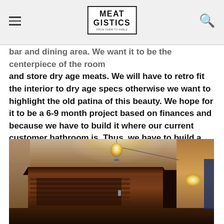MEAT GISTICS — navigation header with hamburger menu and search icon
bar and dining area. We want it to be the centerpiece of the room and store dry age meats. We will have to retro fit the interior to dry age specs otherwise we want to highlight the old patina of this beauty. We hope for it to be a 6-9 month project based on finances and because we have to build it where our current customer bathroom is. Thus, we have to build a new bathroom and do some electrical and plumbing reconfiguration.
[Figure (photo): Interior photograph of a large antique wooden armoire/cabinet with ornate crown molding top, horizontal slatted panels, dark wood finish. The room has a ceiling with a glowing light bulb hanging down with a wire running across. A warm-lit passage or doorway is visible to the right side.]